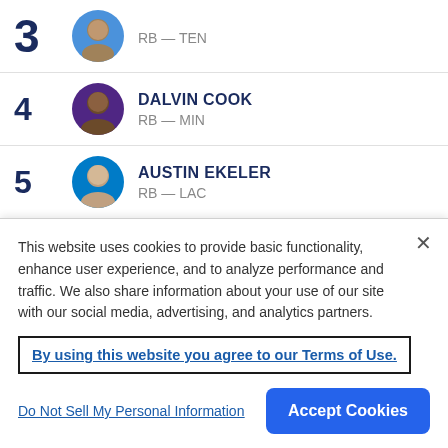3 RB — TEN (partial, top)
4 DALVIN COOK RB — MIN
5 AUSTIN EKELER RB — LAC
6 JOE MIXON RB — CIN
7 NAJEE HARRIS (partial, bottom)
This website uses cookies to provide basic functionality, enhance user experience, and to analyze performance and traffic. We also share information about your use of our site with our social media, advertising, and analytics partners.
By using this website you agree to our Terms of Use.
Do Not Sell My Personal Information
Accept Cookies